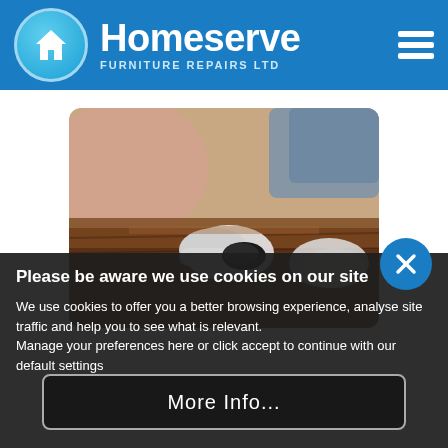[Figure (logo): Homeserve Furniture Repairs Ltd logo with house icon in circle on blue header, hamburger menu icon top right]
[Figure (photo): Person wearing white gloves repairing/polishing wooden furniture surface]
Please be aware we use cookies on our site
We use cookies to offer you a better browsing experience, analyse site traffic and help you to see what is relevant.
Manage your preferences here or click accept to continue with our default settings
More Info...